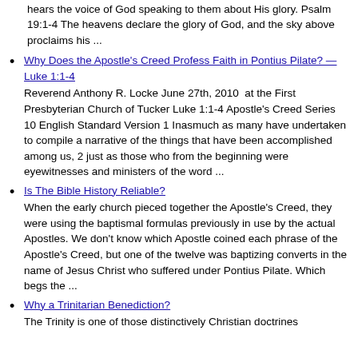2001. Wheaton: Standard Bible Society. Everybody on this planet hears the voice of God speaking to them about His glory. Psalm 19:1-4 The heavens declare the glory of God, and the sky above proclaims his ...
Why Does the Apostle's Creed Profess Faith in Pontius Pilate? — Luke 1:1-4
Reverend Anthony R. Locke June 27th, 2010  at the First Presbyterian Church of Tucker Luke 1:1-4 Apostle's Creed Series 10 English Standard Version 1 Inasmuch as many have undertaken to compile a narrative of the things that have been accomplished among us, 2 just as those who from the beginning were eyewitnesses and ministers of the word ...
Is The Bible History Reliable?
When the early church pieced together the Apostle's Creed, they were using the baptismal formulas previously in use by the actual Apostles. We don't know which Apostle coined each phrase of the Apostle's Creed, but one of the twelve was baptizing converts in the name of Jesus Christ who suffered under Pontius Pilate. Which begs the ...
Why a Trinitarian Benediction?
The Trinity is one of those distinctively Christian doctrines